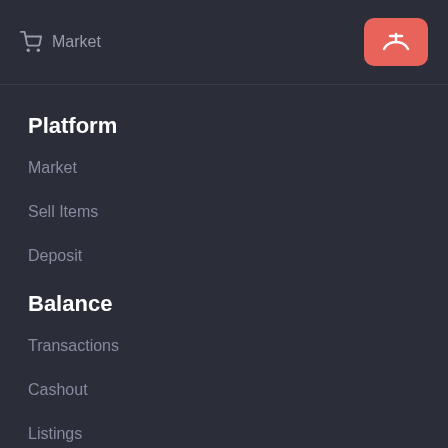Market
Platform
Market
Sell Items
Deposit
Balance
Transactions
Cashout
Listings